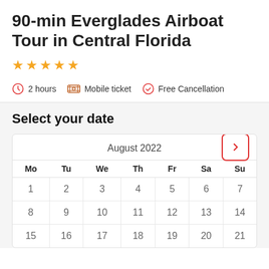90-min Everglades Airboat Tour in Central Florida
[Figure (other): 5 gold star rating icons]
2 hours   Mobile ticket   Free Cancellation
Select your date
[Figure (other): Calendar widget showing August 2022 with days Mo Tu We Th Fr Sa Su and dates 1-21 visible]
| Mo | Tu | We | Th | Fr | Sa | Su |
| --- | --- | --- | --- | --- | --- | --- |
| 1 | 2 | 3 | 4 | 5 | 6 | 7 |
| 8 | 9 | 10 | 11 | 12 | 13 | 14 |
| 15 | 16 | 17 | 18 | 19 | 20 | 21 |